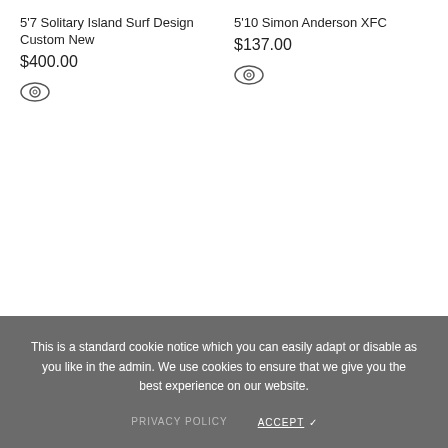5'7 Solitary Island Surf Design Custom New
$400.00
5'10 Simon Anderson XFC
$137.00
This is a standard cookie notice which you can easily adapt or disable as you like in the admin. We use cookies to ensure that we give you the best experience on our website.
PRIVACY POLICY   ACCEPT ✓